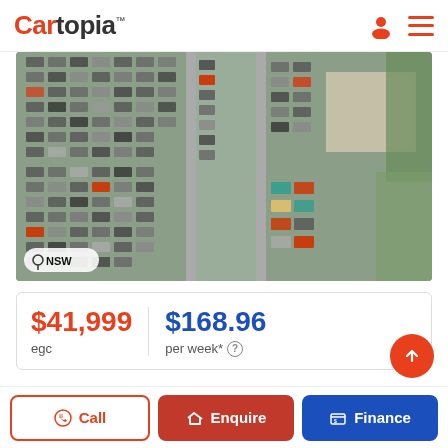Cartopia
[Figure (photo): Aerial view of a crowded car lot/parking area with many vehicles, with a NSW location badge overlay]
$41,999
egc
$168.96
per week*
2016 Land Rover Discovery Sport Wagon
Call
Enquire
Finance